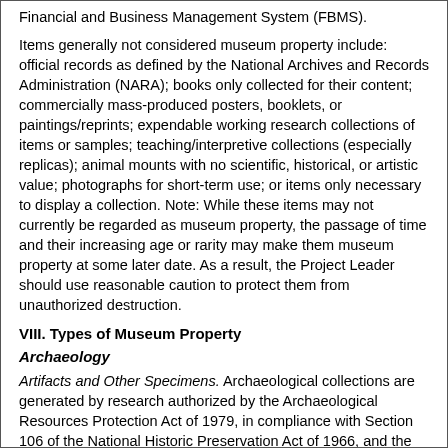Financial and Business Management System (FBMS).
Items generally not considered museum property include: official records as defined by the National Archives and Records Administration (NARA); books only collected for their content; commercially mass-produced posters, booklets, or paintings/reprints; expendable working research collections of items or samples; teaching/interpretive collections (especially replicas); animal mounts with no scientific, historical, or artistic value; photographs for short-term use; or items only necessary to display a collection. Note: While these items may not currently be regarded as museum property, the passage of time and their increasing age or rarity may make them museum property at some later date. As a result, the Project Leader should use reasonable caution to protect them from unauthorized destruction.
VIII. Types of Museum Property
Archaeology
Artifacts and Other Specimens. Archaeological collections are generated by research authorized by the Archaeological Resources Protection Act of 1979, in compliance with Section 106 of the National Historic Preservation Act of 1966, and the Antiquities Act of 1906. There are also some materials resulting from unauthorized collections.